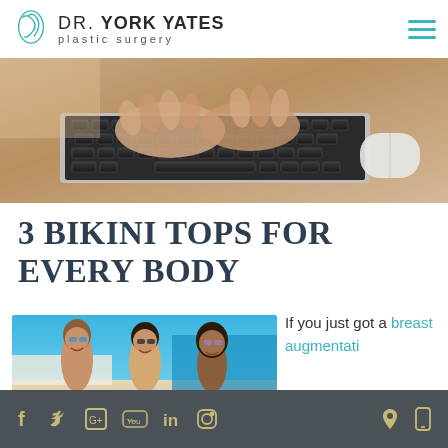DR. YORK YATES plastic surgery
[Figure (photo): Close-up of hands typing on a laptop keyboard with a white mouse visible on the right]
3 BIKINI TOPS FOR EVERY BODY
[Figure (photo): Three women smiling together outdoors near a pool, wearing sunglasses and bikini tops]
If you just got a breast augmentati
Social media icons: Facebook, Twitter, Google+, YouTube, LinkedIn, Instagram, Location, Mobile